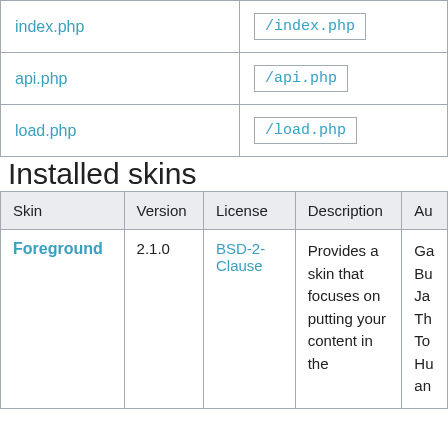|  |  |
| --- | --- |
| index.php | /index.php |
| api.php | /api.php |
| load.php | /load.php |
Installed skins
| Skin | Version | License | Description | Au |
| --- | --- | --- | --- | --- |
| Foreground | 2.1.0 | BSD-2-Clause | Provides a skin that focuses on putting your content in the | Ga Bu Ja Th To Hu an |